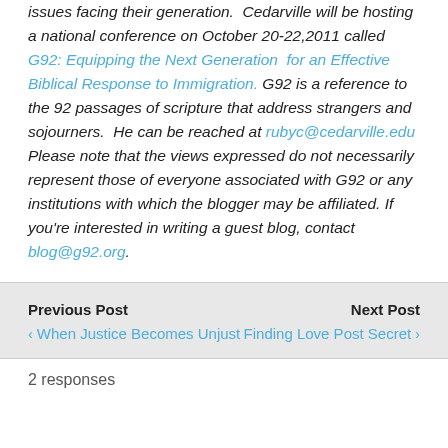issues facing their generation.  Cedarville will be hosting a national conference on October 20-22,2011 called G92: Equipping the Next Generation  for an Effective Biblical Response to Immigration. G92 is a reference to the 92 passages of scripture that address strangers and sojourners.  He can be reached at rubyc@cedarville.edu Please note that the views expressed do not necessarily represent those of everyone associated with G92 or any institutions with which the blogger may be affiliated. If you're interested in writing a guest blog, contact blog@g92.org.
Previous Post
‹ When Justice Becomes Unjust
Next Post
Finding Love Post Secret ›
2 responses